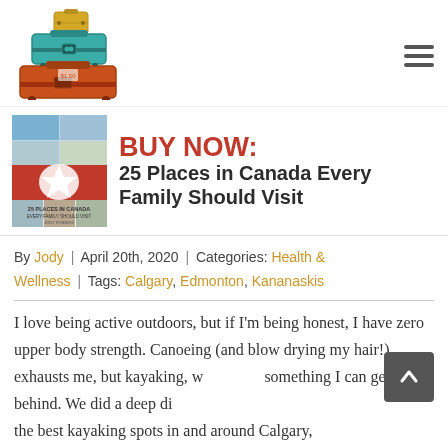[Figure (logo): Jody Robbins Travels with Baggage logo with stacked suitcases illustration]
[Figure (illustration): Book cover for '25 Places in Canada Every Family Should Visit' with Canadian maple leaf and travel photos]
BUY NOW: 25 Places in Canada Every Family Should Visit
By Jody | April 20th, 2020 | Categories: Health & Wellness | Tags: Calgary, Edmonton, Kananaskis
I love being active outdoors, but if I'm being honest, I have zero upper body strength. Canoeing (and blow drying my hair!) exhausts me, but kayaking, well that's something I can get behind. We did a deep dive into the best kayaking spots in and around Calgary,